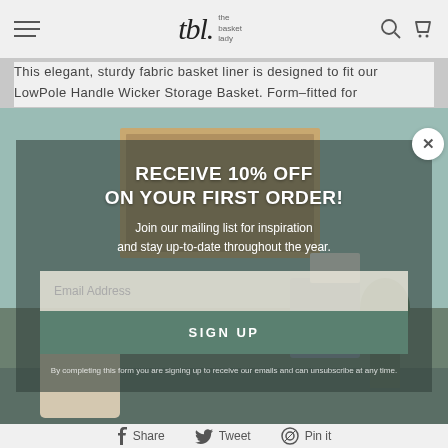tbl. the basket lady — navigation header with menu, logo, search and cart icons
This elegant, sturdy fabric basket liner is designed to fit our LowPole Handle Wicker Storage Basket. Form–fitted for
[Figure (screenshot): Email signup popup modal overlay on a room background image showing a desk with wicker basket, plants, and art. Modal contains: RECEIVE 10% OFF ON YOUR FIRST ORDER! Join our mailing list for inspiration and stay up-to-date throughout the year. Email Address input field. SIGN UP button. Disclaimer text. Close X button top right.]
ADDITIONAL INFO
Share  Tweet  Pin it